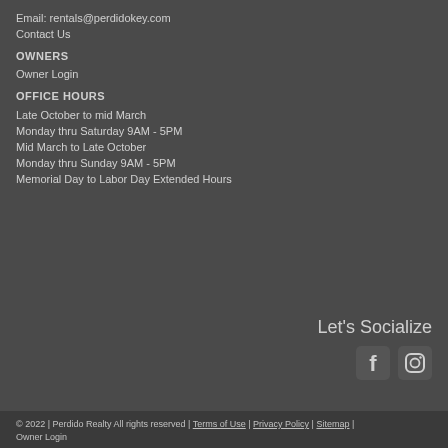Email: rentals@perdidokey.com
Contact Us
OWNERS
Owner Login
OFFICE HOURS
Late October to mid March
Monday thru Saturday 9AM - 5PM
Mid March to Late October
Monday thru Sunday 9AM - 5PM
Memorial Day to Labor Day Extended Hours
Let's Socialize
[Figure (illustration): Facebook and Instagram social media icons]
© 2022 | Perdido Realty All rights reserved | Terms of Use | Privacy Policy | Sitemap | Owner Login